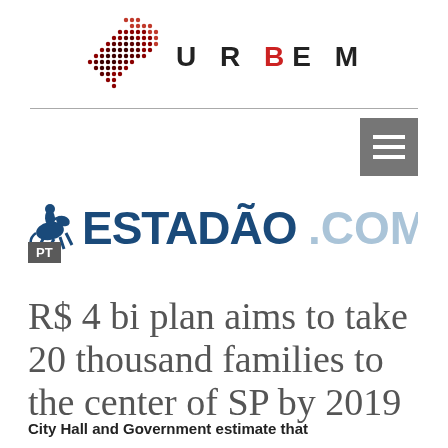[Figure (logo): URBEM logo with dotted map icon and bold text U R B E M where B is in red]
[Figure (logo): Estadao.com.br logo with horse rider icon and blue/gray text]
[Figure (other): Gray hamburger menu button with three white horizontal lines]
PT
R$ 4 bi plan aims to take 20 thousand families to the center of SP by 2019
City Hall and Government estimate that